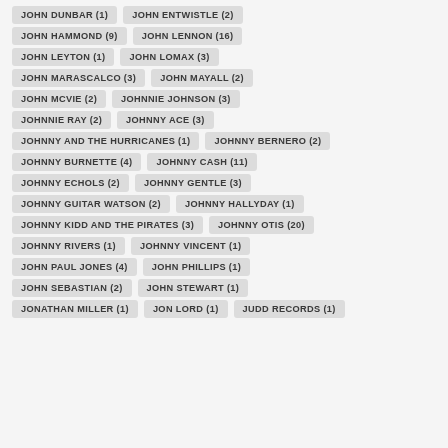JOHN DUNBAR (1)
JOHN ENTWISTLE (2)
JOHN HAMMOND (9)
JOHN LENNON (16)
JOHN LEYTON (1)
JOHN LOMAX (3)
JOHN MARASCALCO (3)
JOHN MAYALL (2)
JOHN MCVIE (2)
JOHNNIE JOHNSON (3)
JOHNNIE RAY (2)
JOHNNY ACE (3)
JOHNNY AND THE HURRICANES (1)
JOHNNY BERNERO (2)
JOHNNY BURNETTE (4)
JOHNNY CASH (11)
JOHNNY ECHOLS (2)
JOHNNY GENTLE (3)
JOHNNY GUITAR WATSON (2)
JOHNNY HALLYDAY (1)
JOHNNY KIDD AND THE PIRATES (3)
JOHNNY OTIS (20)
JOHNNY RIVERS (1)
JOHNNY VINCENT (1)
JOHN PAUL JONES (4)
JOHN PHILLIPS (1)
JOHN SEBASTIAN (2)
JOHN STEWART (1)
JONATHAN MILLER (1)
JON LORD (1)
JUDD RECORDS (1)